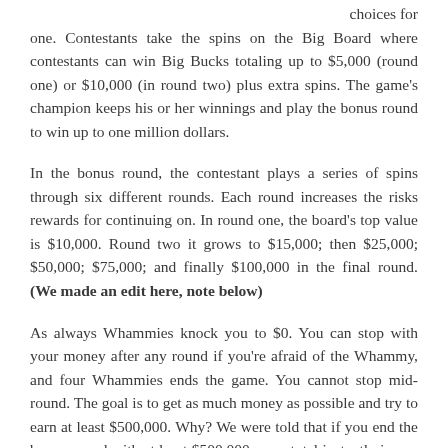choices for one. Contestants take the spins on the Big Board where contestants can win Big Bucks totaling up to $5,000 (round one) or $10,000 (in round two) plus extra spins. The game's champion keeps his or her winnings and play the bonus round to win up to one million dollars.
In the bonus round, the contestant plays a series of spins through six different rounds. Each round increases the risks rewards for continuing on. In round one, the board's top value is $10,000. Round two it grows to $15,000; then $25,000; $50,000; $75,000; and finally $100,000 in the final round. (We made an edit here, note below)
As always Whammies knock you to $0. You can stop with your money after any round if you're afraid of the Whammy, and four Whammies ends the game. You cannot stop mid-round. The goal is to get as much money as possible and try to earn at least $500,000. Why? We were told that if you end the bonus round with at least $500,000, your total instantly jumps to the grand prize of